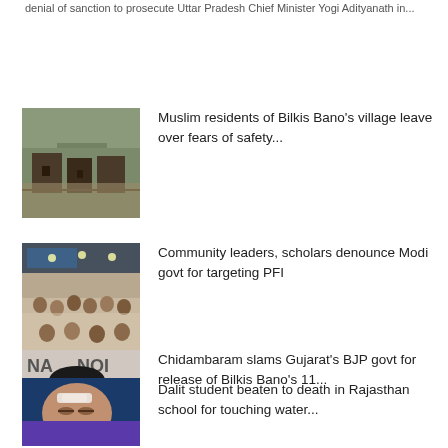denial of sanction to prosecute Uttar Pradesh Chief Minister Yogi Adityanath in...
[Figure (photo): Damaged/burnt building structure, flood or fire scene]
Muslim residents of Bilkis Bano's village leave over fears of safety...
[Figure (photo): Community gathering/meeting with people seated in a hall]
Community leaders, scholars denounce Modi govt for targeting PFI
[Figure (photo): Portrait of Chidambaram at podium with microphone]
Chidambaram slams Gujarat's BJP govt for release of Bilkis Bano's 11...
[Figure (photo): Close-up of a child/person with injuries to face]
Dalit student beaten to death in Rajasthan school for touching water...
[Figure (photo): Partial thumbnail visible at bottom of page, purple/violet color]